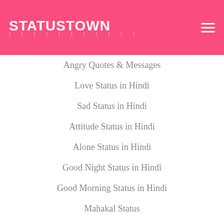STATUSSTOWN
Angry Quotes & Messages
Love Status in Hindi
Sad Status in Hindi
Attitude Status in Hindi
Alone Status in Hindi
Good Night Status in Hindi
Good Morning Status in Hindi
Mahakal Status
Radhe Krishna Status
Birthday Messages
Birthday Messages for Mom